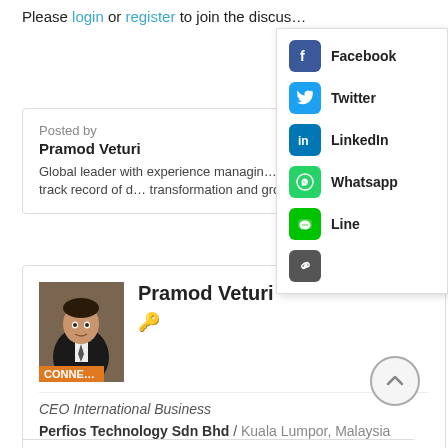Please login or register to join the discus…
[Figure (infographic): Social sharing panel with icons for Facebook, Twitter, LinkedIn, Whatsapp, Line, and a link icon]
Posted by
Pramod Veturi
Global leader with experience managin… functions with proven track record of d… transformation and growth.
Pramod Veturi
[Figure (photo): Profile photo of Pramod Veturi with orange CONNECT button overlay]
CEO International Business
Perfios Technology Sdn Bhd / Kuala Lumpor, Malaysia